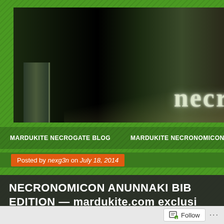[Figure (screenshot): Website header banner with dark background and glowing white text 'necr' (partial), with a book spine visible at lower left]
MARDUKITE NECROGATE BLOG    MARDUKITE NECRONOMICON
Posted by nexg3n on July 18, 2014
NECRONOMICON ANUNNAKI BIB EDITION — mardukite.com exclusi
[Figure (screenshot): Follow button widget at the bottom of the page]